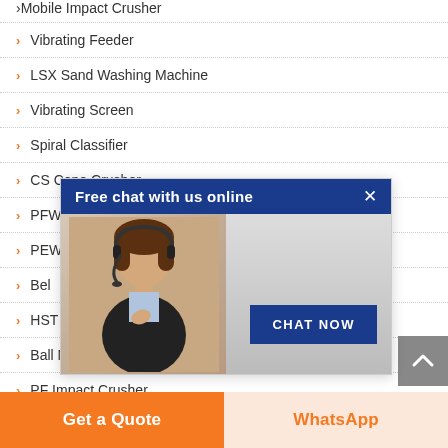Mobile Impact Crusher
Vibrating Feeder
LSX Sand Washing Machine
Vibrating Screen
Spiral Classifier
CS Cone Crusher
PFW...
PEW...
Bel...
HST...
Ball Mill
PF Impact Crusher
Mobile Cone Crusher
[Figure (screenshot): Chat popup overlay with 'Free chat with us online' header and 'CHAT NOW' button, featuring a lady with headset.]